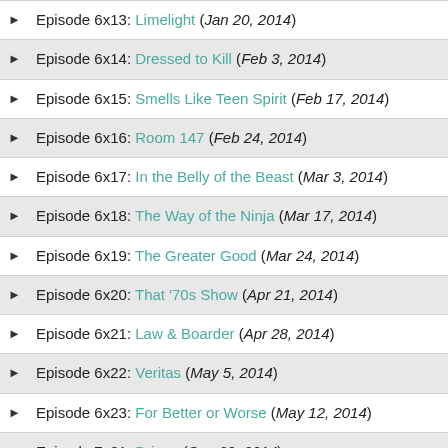Episode 6x13: Limelight (Jan 20, 2014)
Episode 6x14: Dressed to Kill (Feb 3, 2014)
Episode 6x15: Smells Like Teen Spirit (Feb 17, 2014)
Episode 6x16: Room 147 (Feb 24, 2014)
Episode 6x17: In the Belly of the Beast (Mar 3, 2014)
Episode 6x18: The Way of the Ninja (Mar 17, 2014)
Episode 6x19: The Greater Good (Mar 24, 2014)
Episode 6x20: That '70s Show (Apr 21, 2014)
Episode 6x21: Law & Boarder (Apr 28, 2014)
Episode 6x22: Veritas (May 5, 2014)
Episode 6x23: For Better or Worse (May 12, 2014)
Episode 7x01: Driven (Sep 29, 2014)